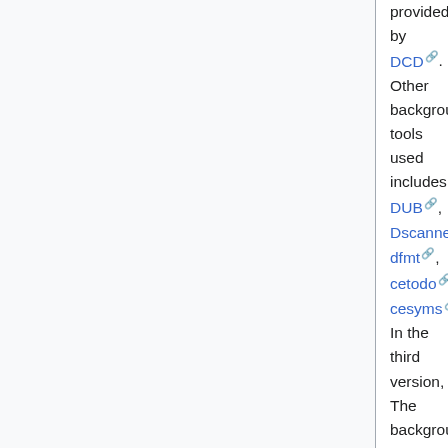provided by DCD. Other background tools used includes DUB, Dscanner, dfmt, cetodo, cesyms. In the third version, The background tools written especially for Coedit (cesyms and cetodo) are unified in a single tool called Dastworx (D AST works).
All the D compilers are supported. This is natural for the DUB projects since the build tool allows to select a particular compiler. Coedit also implements its own project format. It is based on the DMD command line interface so LDC and GDC are supported through the LDMD2 and the GDMD bridges.
Debugging is supported since version 3, using GDB, but only for the POSIX platform, because under Windows DMD still produces OMF objects and debugging information that GDB doesn't